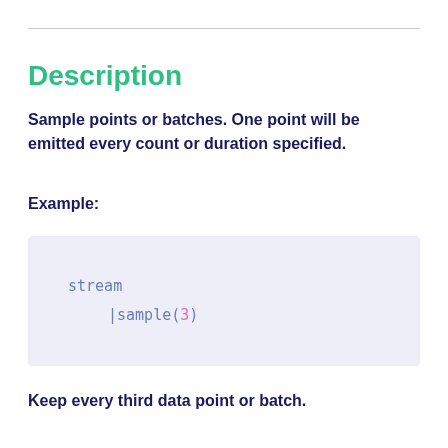Description
Sample points or batches. One point will be emitted every count or duration specified.
Example:
[Figure (screenshot): Code block showing: stream | sample(3)]
Keep every third data point or batch.